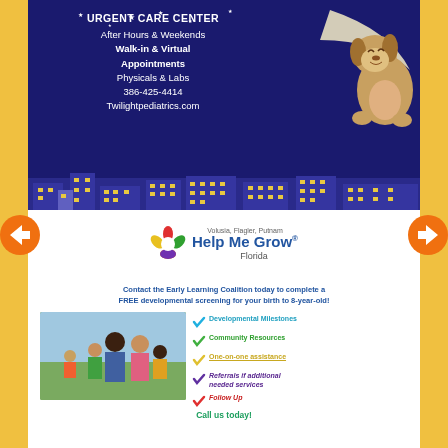[Figure (illustration): Twilight Pediatrics Urgent Care Center advertisement with dark blue background, cartoon dog hanging from a crescent moon, cityscape silhouette, and text listing services]
[Figure (logo): Help Me Grow Florida logo with colorful flower icon and text 'Volusia, Flagler, Putnam Help Me Grow Florida']
Contact the Early Learning Coalition today to complete a FREE developmental screening for your birth to 8-year-old!
[Figure (photo): Family photo showing parents and children smiling outdoors]
Developmental Milestones
Community Resources
One-on-one assistance
Referrals if additional needed services
Follow Up
Call us today!